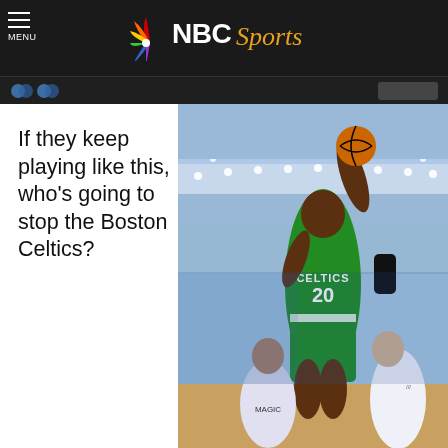NBC Sports
If they keep playing like this, who's going to stop the Boston Celtics?
[Figure (photo): Boston Celtics player #20 in green jersey leaping for a layup during an NBA game, with opposing players below him and arena crowd in background]